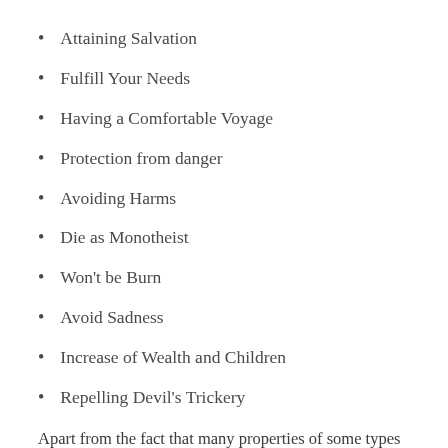Attaining Salvation
Fulfill Your Needs
Having a Comfortable Voyage
Protection from danger
Avoiding Harms
Die as Monotheist
Won't be Burn
Avoid Sadness
Increase of Wealth and Children
Repelling Devil's Trickery
Apart from the fact that many properties of some types of this stone have been mentioned in Islamic sources, these